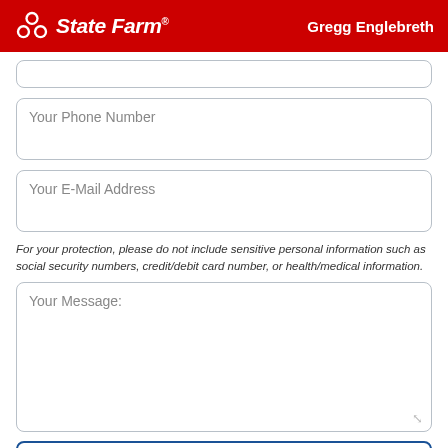State Farm — Gregg Englebreth
Your Phone Number
Your E-Mail Address
For your protection, please do not include sensitive personal information such as social security numbers, credit/debit card number, or health/medical information.
Your Message:
Add Attachments (25.0 MB max)